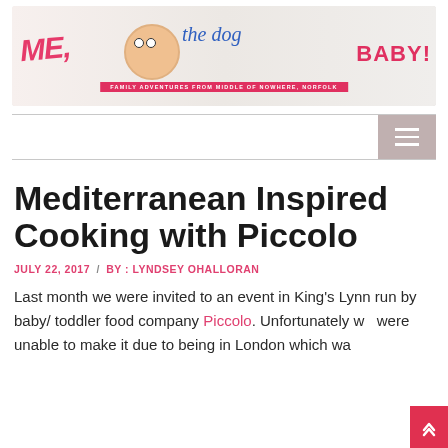[Figure (illustration): Blog header banner for 'Me, the dog, and Baby!' family adventure blog. Colorful illustrated characters including cartoon girls, a bald baby, dog, and the text 'Me, the dog, BABY!' with tagline 'Family Adventures from middle of nowhere, Norfolk']
[Figure (screenshot): Navigation bar with hamburger menu icon on the right side, gray background button with three white horizontal lines]
Mediterranean Inspired Cooking with Piccolo
JULY 22, 2017 / BY : LYNDSEY OHALLORAN
Last month we were invited to an event in King's Lynn run by baby/ toddler food company Piccolo. Unfortunately we were unable to make it due to being in London which wa